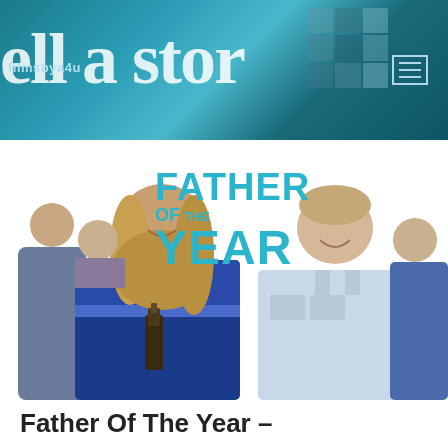[Figure (screenshot): Website header banner with teal/blue gradient background showing partial text 'ell a stor...' in large white serif font, site name 'filmsbya4u' on left, hamburger menu icon on right, photo collage thumbnails in upper right corner]
[Figure (photo): Movie promotional image for 'Father Of The Year' - Netflix comedy film. Shows four people: two young men in background and two fathers in foreground against white background. Left father has long blond hair wearing blue jacket holding beer bottle. Right father has short hair wearing light blue button-up shirt. Movie title 'FATHER OF THE YEAR' displayed in large teal/cyan bold text in center.]
Father Of The Year –